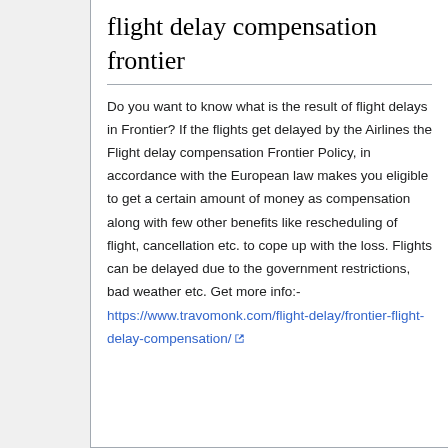flight delay compensation frontier
Do you want to know what is the result of flight delays in Frontier? If the flights get delayed by the Airlines the Flight delay compensation Frontier Policy, in accordance with the European law makes you eligible to get a certain amount of money as compensation along with few other benefits like rescheduling of flight, cancellation etc. to cope up with the loss. Flights can be delayed due to the government restrictions, bad weather etc. Get more info:- https://www.travomonk.com/flight-delay/frontier-flight-delay-compensation/